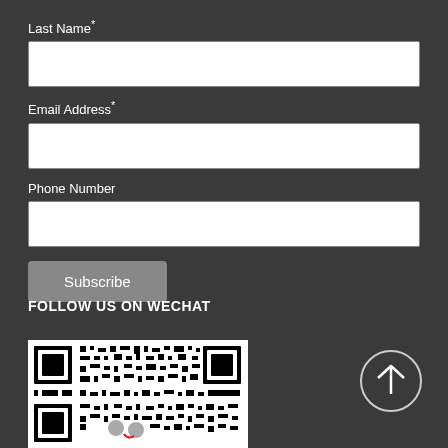Last Name*
Email Address*
Phone Number
Subscribe
FOLLOW US ON WECHAT
[Figure (other): QR code for WeChat follow]
[Figure (other): Back to top arrow button circle]